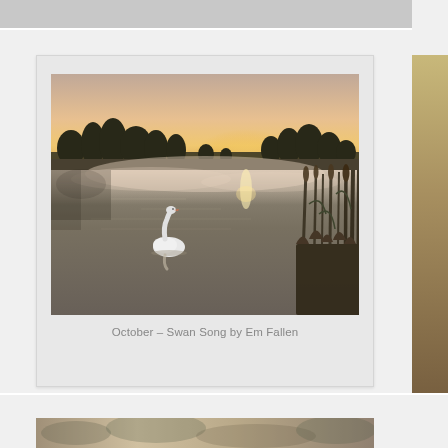[Figure (photo): Photograph of a swan on a misty lake at sunrise/sunset, with silhouetted trees on the horizon, golden sky, mist rising from the water surface, and reeds visible on the right side. The swan is centered in the lower half of the image, its neck arched downward toward the water.]
October – Swan Song by Em Fallen